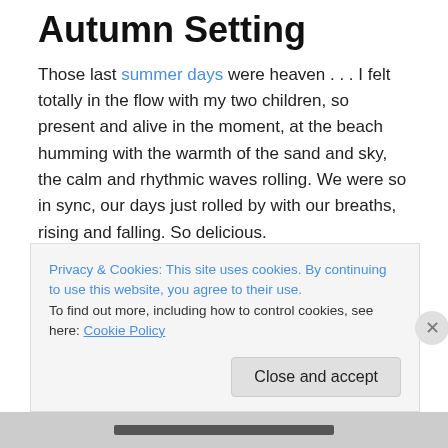Autumn Setting
Those last summer days were heaven . . . I felt totally in the flow with my two children, so present and alive in the moment, at the beach humming with the warmth of the sand and sky, the calm and rhythmic waves rolling. We were so in sync, our days just rolled by with our breaths, rising and falling. So delicious.
Then, school started, still in the height of our summer, weather-wise. Oh, how I resisted! I did not want this summer to end! To come down from my cosmic high! I
Privacy & Cookies: This site uses cookies. By continuing to use this website, you agree to their use.
To find out more, including how to control cookies, see here: Cookie Policy
Close and accept